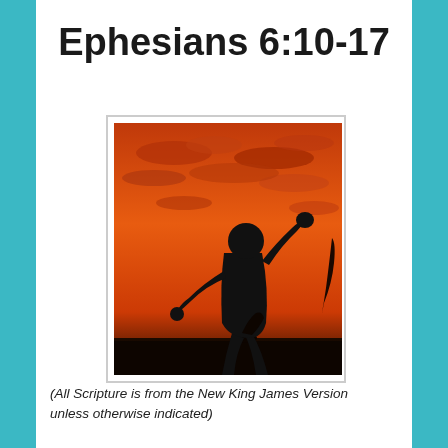Ephesians 6:10-17
[Figure (photo): Silhouette of a person throwing or pitching against a dramatic orange and red sunset sky with clouds]
(All Scripture is from the New King James Version unless otherwise indicated)